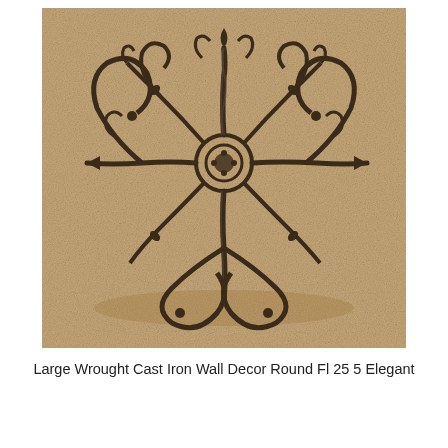[Figure (photo): A decorative large wrought cast iron wall art piece with an ornate round floral/scrollwork design, photographed on a beige/tan carpet background. The dark metal piece features intricate swirls, leaves, arrows, and floral patterns radiating from a central medallion.]
Large Wrought Cast Iron Wall Decor Round Fl 25 5 Elegant